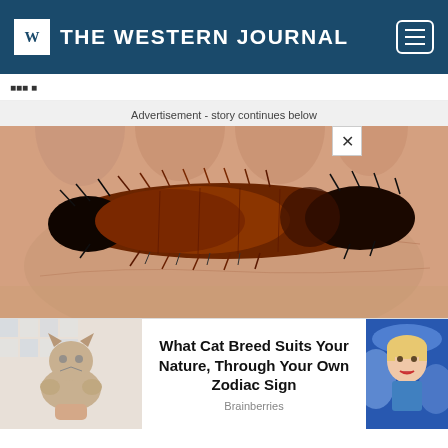THE WESTERN JOURNAL
Advertisement - story continues below
[Figure (photo): A woolly bear caterpillar (banded woolly bear) resting on a human hand, showing black ends and a reddish-brown middle section with fuzzy bristles]
What Cat Breed Suits Your Nature, Through Your Own Zodiac Sign
Brainberries